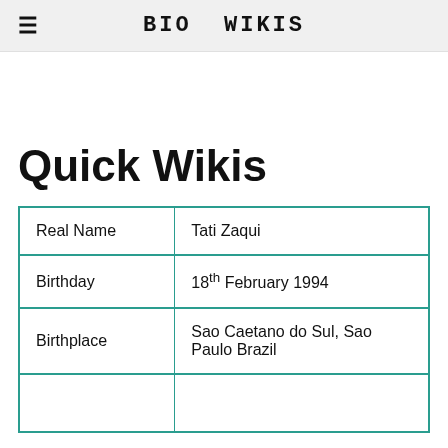BIO WIKIS
Quick Wikis
|  |  |
| --- | --- |
| Real Name | Tati Zaqui |
| Birthday | 18th February 1994 |
| Birthplace | Sao Caetano do Sul, Sao Paulo Brazil |